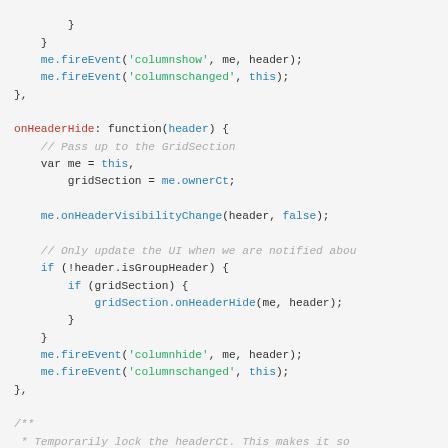Code snippet showing JavaScript methods onHeaderHide with fireEvent calls and comment block